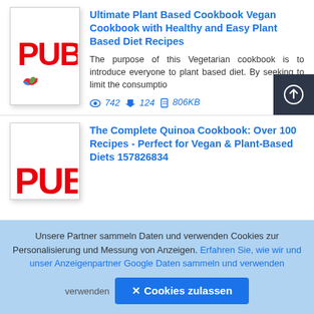[Figure (screenshot): Book cover thumbnail with red PUB text and colored icon on white background, first listing]
Ultimate Plant Based Cookbook Vegan Cookbook with Healthy and Easy Plant Based Diet Recipes
The purpose of this Vegetarian cookbook is to introduce everyone to plant based diet. By seeking to limit the consumptio
742  124  806KB
[Figure (screenshot): Book cover thumbnail with red PUB text on white background, second listing]
The Complete Quinoa Cookbook: Over 100 Recipes - Perfect for Vegan & Plant-Based Diets 157826834
Unsere Partner sammeln Daten und verwenden Cookies zur Personalisierung und Messung von Anzeigen. Erfahren Sie, wie wir und unser Anzeigenpartner Google Daten sammeln und verwenden
✕ Cookies zulassen